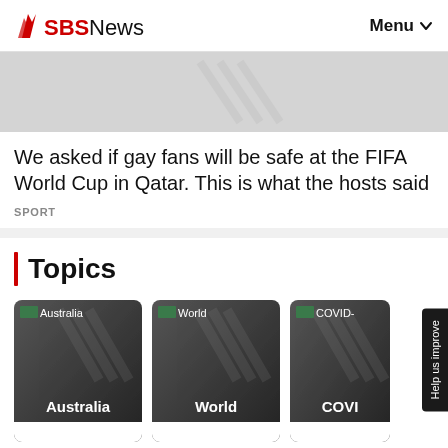SBS News  Menu
[Figure (screenshot): Grey placeholder image for article thumbnail]
We asked if gay fans will be safe at the FIFA World Cup in Qatar. This is what the hosts said
SPORT
Topics
[Figure (screenshot): Australia topic card with dark background]
[Figure (screenshot): World topic card with dark background]
[Figure (screenshot): COVID- topic card with dark background (partially visible)]